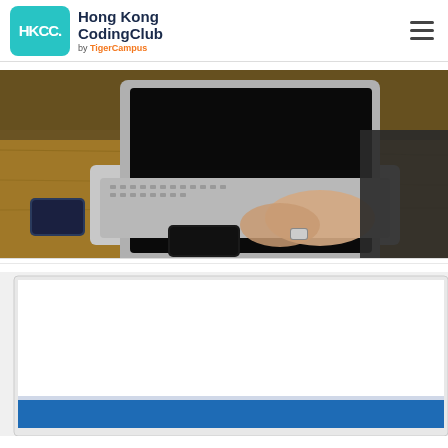HKCC. Hong Kong CodingClub by TigerCampus
[Figure (photo): Person typing on a MacBook laptop on a wooden desk, with smartphones beside the laptop. The person is wearing a watch and dark jacket.]
[Figure (photo): Partial view of a monitor screen with blue bar at bottom, white content area visible.]